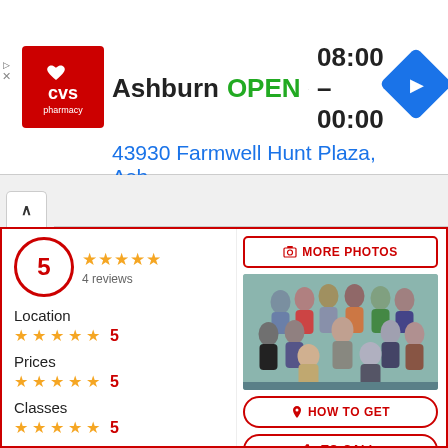[Figure (screenshot): CVS Pharmacy advertisement banner showing Ashburn location, OPEN status 08:00–00:00, address 43930 Farmwell Hunt Plaza, Ash...]
Ashburn  OPEN  08:00 – 00:00
43930 Farmwell Hunt Plaza, Ash...
5
4 reviews
Location
5
Prices
5
Classes
5
Facilities
5
Teachers
5
[Figure (photo): Group photo of approximately 15 people in front of a teal/green wall]
MORE PHOTOS
HOW TO GET
TO CALL
WHATSAPP